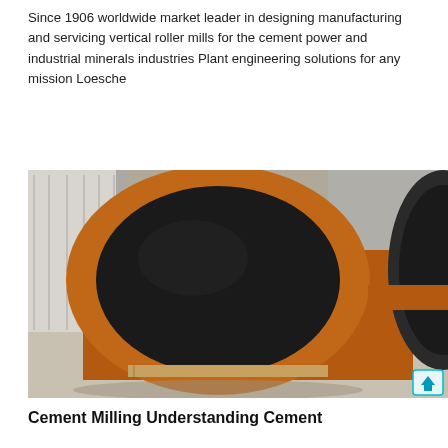Since 1906 worldwide market leader in designing manufacturing and servicing vertical roller mills for the cement power and industrial minerals industries Plant engineering solutions for any mission Loesche
[Figure (photo): Industrial photo showing a large cylindrical steel roller/grinding roll with an orange-painted outer ring and a dark (black) circular face, lying horizontally in an industrial warehouse or factory floor. A second similar dark cylinder is visible on the right side. The background shows metal building walls and structure.]
Cement Milling Understanding Cement